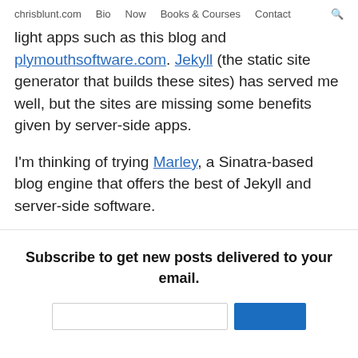chrisblunt.com   Bio   Now   Books & Courses   Contact   🔍
light apps such as this blog and plymouthsoftware.com. Jekyll (the static site generator that builds these sites) has served me well, but the sites are missing some benefits given by server-side apps.
I'm thinking of trying Marley, a Sinatra-based blog engine that offers the best of Jekyll and server-side software.
Subscribe to get new posts delivered to your email.